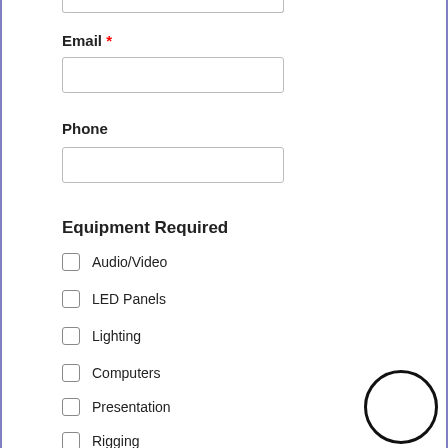Email *
Phone
Equipment Required
Audio/Video
LED Panels
Lighting
Computers
Presentation
Rigging